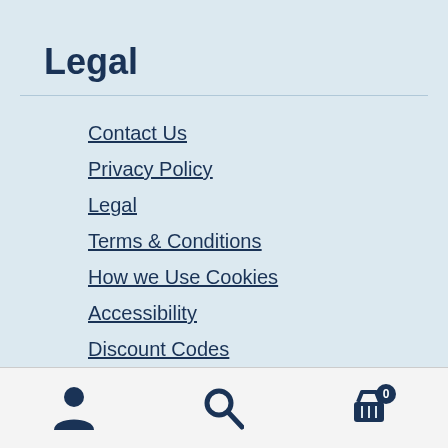Legal
Contact Us
Privacy Policy
Legal
Terms & Conditions
How we Use Cookies
Accessibility
Discount Codes
Navigation icons: account, search, cart (0)